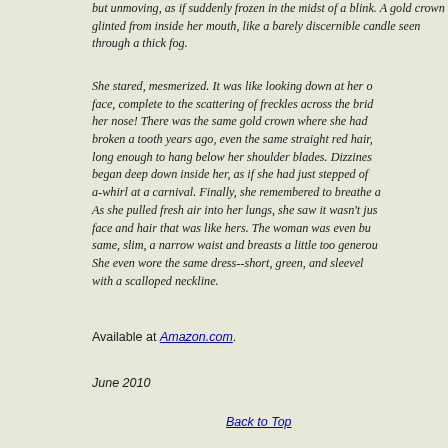but unmoving, as if suddenly frozen in the midst of a blink. A gold crown glinted from inside her mouth, like a barely discernible candle seen through a thick fog.
She stared, mesmerized. It was like looking down at her own face, complete to the scattering of freckles across the bridge of her nose! There was the same gold crown where she had broken a tooth years ago, even the same straight red hair, long enough to hang below her shoulder blades. Dizziness began deep down inside her, as if she had just stepped off a-whirl at a carnival. Finally, she remembered to breathe again. As she pulled fresh air into her lungs, she saw it wasn't just face and hair that was like hers. The woman was even built the same, slim, a narrow waist and breasts a little too generous. She even wore the same dress--short, green, and sleeveless, with a scalloped neckline.
Available at Amazon.com.
June 2010
Back to Top